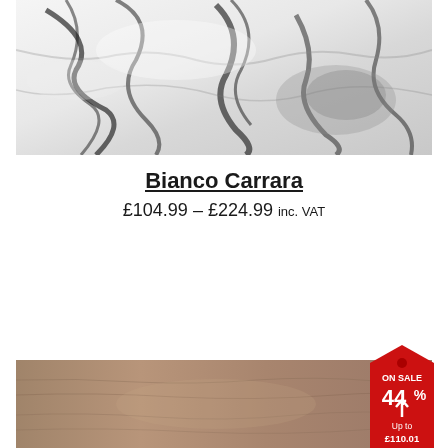[Figure (photo): Close-up photo of white Bianco Carrara marble with dark veining]
Bianco Carrara
£104.99 – £224.99 inc. VAT
[Figure (photo): Photo of a brownish-tan stone or wood-effect tile surface with a red 'ON SALE 44% Up to £110.01' badge overlay]